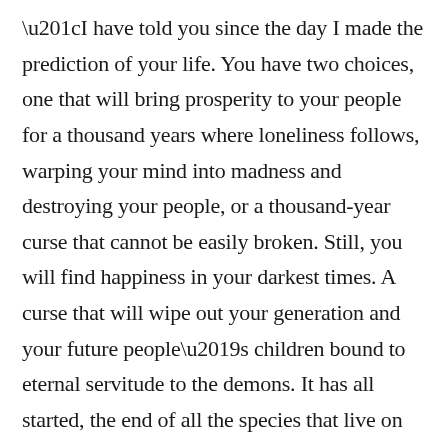“I have told you since the day I made the prediction of your life. You have two choices, one that will bring prosperity to your people for a thousand years where loneliness follows, warping your mind into madness and destroying your people, or a thousand-year curse that cannot be easily broken. Still, you will find happiness in your darkest times. A curse that will wipe out your generation and your future people’s children bound to eternal servitude to the demons. It has all started, the end of all the species that live on Noriene. It will become a race of time when every single one of you will become warped by the demon’s curse and your souls stolen by the demon that serves the false light.”